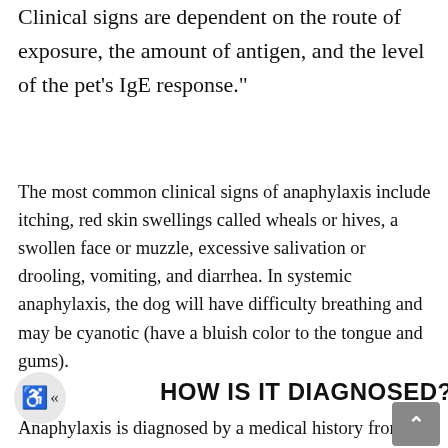Clinical signs are dependent on the route of exposure, the amount of antigen, and the level of the pet's IgE response."
The most common clinical signs of anaphylaxis include itching, red skin swellings called wheals or hives, a swollen face or muzzle, excessive salivation or drooling, vomiting, and diarrhea. In systemic anaphylaxis, the dog will have difficulty breathing and may be cyanotic (have a bluish color to the tongue and gums).
HOW IS IT DIAGNOSED?
Anaphylaxis is diagnosed by a medical history from owner, symptoms affecting di...